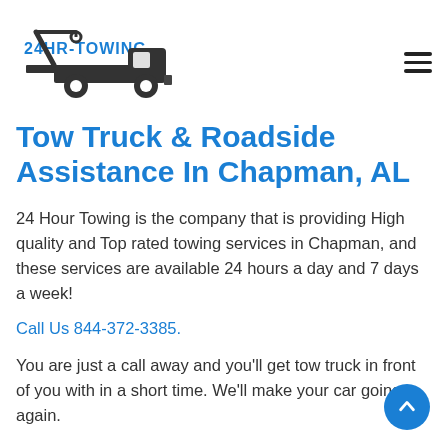[Figure (logo): 24HR-TOWING logo with tow truck silhouette and blue brand text]
Tow Truck & Roadside Assistance In Chapman, AL
24 Hour Towing is the company that is providing High quality and Top rated towing services in Chapman, and these services are available 24 hours a day and 7 days a week!
Call Us 844-372-3385.
You are just a call away and you'll get tow truck in front of you with in a short time. We'll make your car going again.